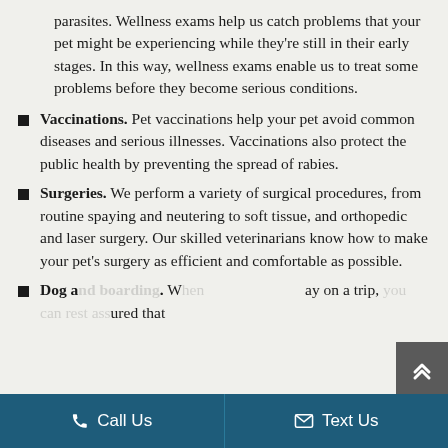parasites. Wellness exams help us catch problems that your pet might be experiencing while they're still in their early stages. In this way, wellness exams enable us to treat some problems before they become serious conditions.
Vaccinations. Pet vaccinations help your pet avoid common diseases and serious illnesses. Vaccinations also protect the public health by preventing the spread of rabies.
Surgeries. We perform a variety of surgical procedures, from routine spaying and neutering to soft tissue, and orthopedic and laser surgery. Our skilled veterinarians know how to make your pet's surgery as efficient and comfortable as possible.
Dog and boarding. When you are away on a trip, you can rest assured that